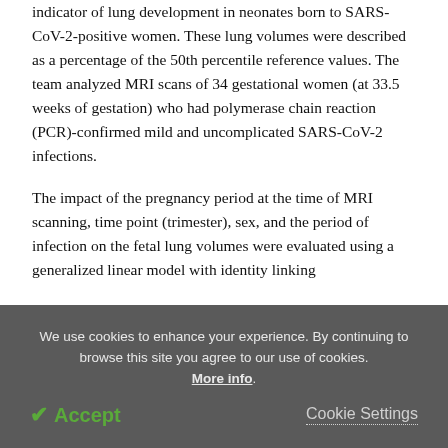indicator of lung development in neonates born to SARS-CoV-2-positive women. These lung volumes were described as a percentage of the 50th percentile reference values. The team analyzed MRI scans of 34 gestational women (at 33.5 weeks of gestation) who had polymerase chain reaction (PCR)-confirmed mild and uncomplicated SARS-CoV-2 infections.
The impact of the pregnancy period at the time of MRI scanning, time point (trimester), sex, and the period of infection on the fetal lung volumes were evaluated using a generalized linear model with identity linking
We use cookies to enhance your experience. By continuing to browse this site you agree to our use of cookies. More info.